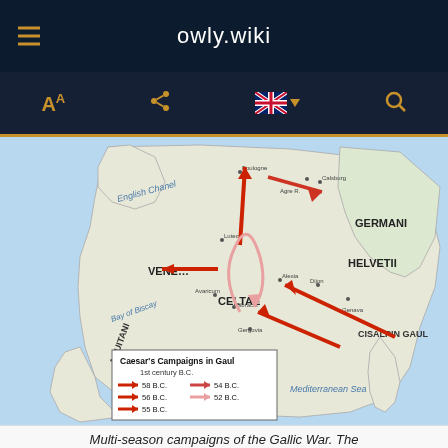owly.wiki
[Figure (map): Map of Caesar's Campaigns in Gaul, 1st century B.C. Shows geographical regions including English Channel, Bay of Biscay, Mediterranean Sea, Germani, Helvetii, Celtae, Aquitani, Cisalpin Gaul, Transalpin Gaul, Veneti. Red arrows show military campaigns: 58 B.C., 56 B.C., 55 B.C. (dark red arrows), 54 B.C. (medium red arrow), 52 B.C. (light pink arrow). Legend box included.]
Multi-season campaigns of the Gallic War. The